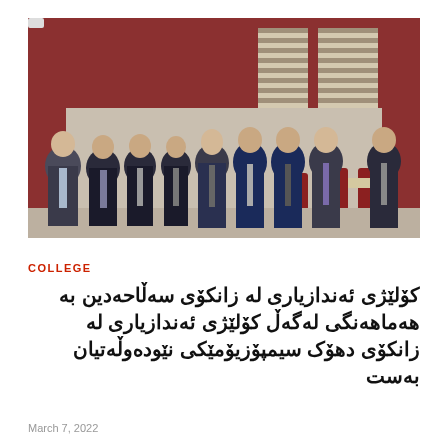[Figure (photo): Group of men in formal suits and ties standing in a row inside a hall with red and beige walls, attending an official event or symposium.]
COLLEGE
کۆلێژی ئەندازیاری له زانکۆی سەڵاحەدین به هەماهەنگی لەگەڵ کۆلێژی ئەندازیاری له زانکۆی دهۆک سیمپۆزیۆمێکی نێودەوڵەتیان بەست
March 7, 2022